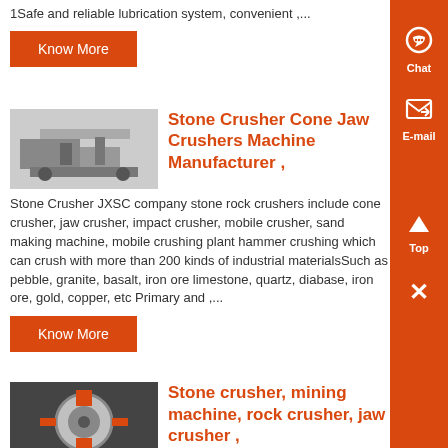1Safe and reliable lubrication system, convenient ,...
Know More
[Figure (photo): Stone crusher / mobile crushing plant machine photo, grayscale]
Stone Crusher Cone Jaw Crushers Machine Manufacturer ,
Stone Crusher JXSC company stone rock crushers include cone crusher, jaw crusher, impact crusher, mobile crusher, sand making machine, mobile crushing plant hammer crushing which can crush with more than 200 kinds of industrial materialsSuch as pebble, granite, basalt, iron ore limestone, quartz, diabase, iron ore, gold, copper, etc Primary and ,...
Know More
[Figure (photo): Stone crusher machinery, close-up view with orange/industrial colors]
Stone crusher, mining machine, rock crusher, jaw crusher ,
How to deal with the rust problem of impact crusher Sand making machines with an output of 300 tons per hour are...